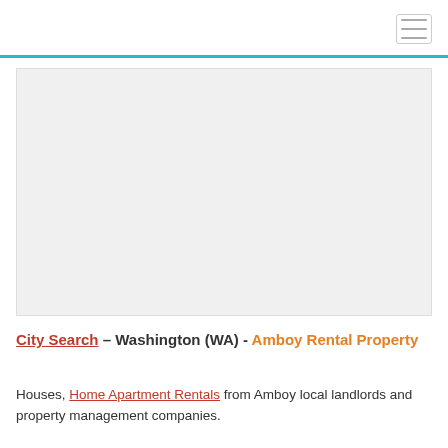[Figure (map): Embedded map placeholder showing Amboy, Washington area]
City Search – Washington (WA) - Amboy Rental Property
Houses, Home Apartment Rentals from Amboy local landlords and property management companies.